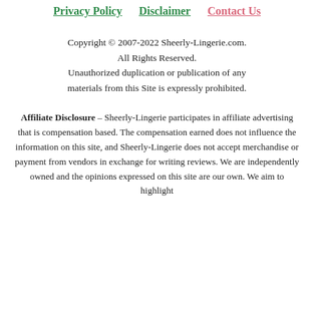Privacy Policy   Disclaimer   Contact Us
Copyright © 2007-2022 Sheerly-Lingerie.com. All Rights Reserved. Unauthorized duplication or publication of any materials from this Site is expressly prohibited.
Affiliate Disclosure – Sheerly-Lingerie participates in affiliate advertising that is compensation based. The compensation earned does not influence the information on this site, and Sheerly-Lingerie does not accept merchandise or payment from vendors in exchange for writing reviews. We are independently owned and the opinions expressed on this site are our own. We aim to highlight